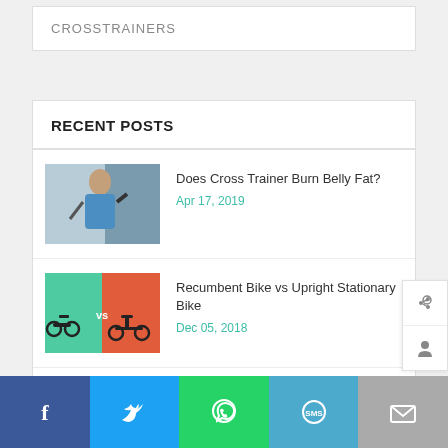CROSSTRAINERS
RECENT POSTS
[Figure (photo): Woman exercising on cross trainer machine in gym]
Does Cross Trainer Burn Belly Fat?
Apr 17, 2019
[Figure (illustration): Green vs red comparison image of recumbent bike vs upright stationary bike with 'vs' text]
Recumbent Bike vs Upright Stationary Bike
Dec 05, 2018
[Figure (photo): Pink shoes on elliptical cross trainer machine]
The Complete Elliptical Cross Trainer Maintenance Guide
Nov 26, 2018
[Figure (infographic): Social share bar with Facebook, Twitter, WhatsApp, SMS, and email buttons]